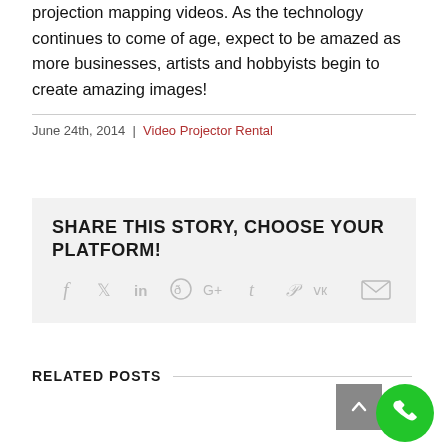projection mapping videos. As the technology continues to come of age, expect to be amazed as more businesses, artists and hobbyists begin to create amazing images!
June 24th, 2014  |  Video Projector Rental
SHARE THIS STORY, CHOOSE YOUR PLATFORM!
[Figure (infographic): Social sharing icons: Facebook, Twitter, LinkedIn, Reddit, Google+, Tumblr, Pinterest, VK, Email]
RELATED POSTS